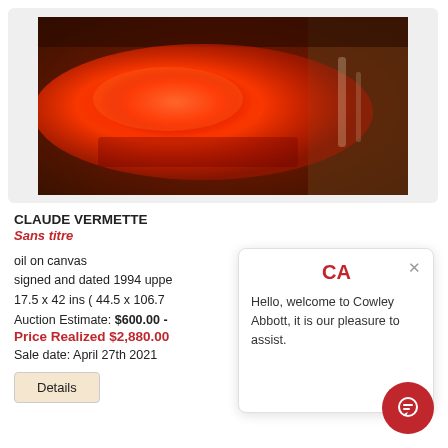[Figure (photo): Abstract painting with red, orange, and dark brown tones on canvas. Large red-orange organic shape dominates the center on a dark background.]
CLAUDE VERMETTE
Sans titre
oil on canvas
signed and dated 1994 uppe...
17.5 x 42 ins ( 44.5 x 106.7...
Auction Estimate: $600.00 -
Price Realized $2,880.00
Sale date: April 27th 2021
Details
Hello, welcome to Cowley Abbott, it is our pleasure to assist.